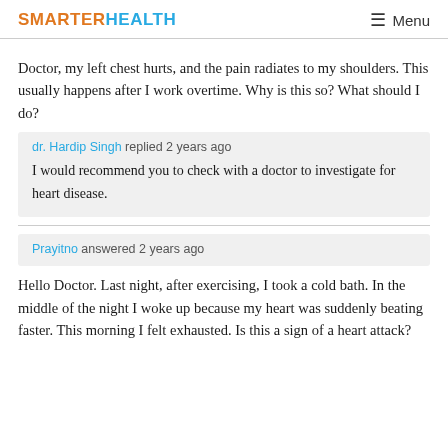SMARTER HEALTH — Menu
Doctor, my left chest hurts, and the pain radiates to my shoulders. This usually happens after I work overtime. Why is this so? What should I do?
dr. Hardip Singh replied 2 years ago
I would recommend you to check with a doctor to investigate for heart disease.
Prayitno answered 2 years ago
Hello Doctor. Last night, after exercising, I took a cold bath. In the middle of the night I woke up because my heart was suddenly beating faster. This morning I felt exhausted. Is this a sign of a heart attack?